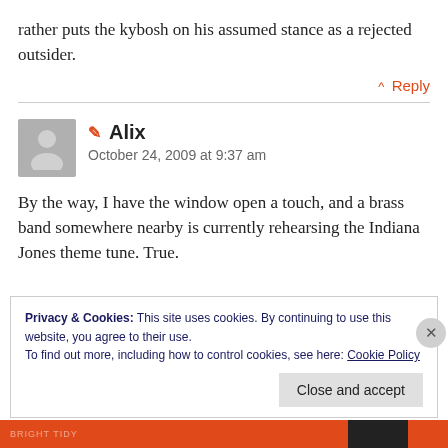rather puts the kybosh on his assumed stance as a rejected outsider.
^ Reply
Alix
October 24, 2009 at 9:37 am
By the way, I have the window open a touch, and a brass band somewhere nearby is currently rehearsing the Indiana Jones theme tune. True.
Privacy & Cookies: This site uses cookies. By continuing to use this website, you agree to their use.
To find out more, including how to control cookies, see here: Cookie Policy
Close and accept